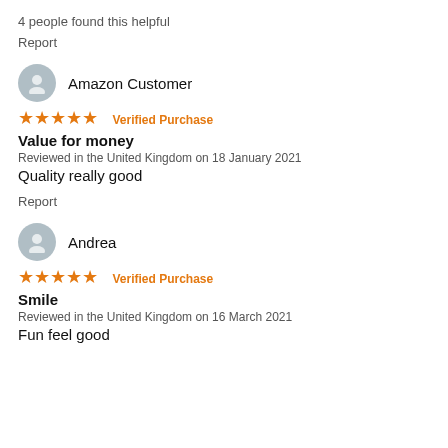4 people found this helpful
Report
Amazon Customer
★★★★★ Verified Purchase
Value for money
Reviewed in the United Kingdom on 18 January 2021
Quality really good
Report
Andrea
★★★★★ Verified Purchase
Smile
Reviewed in the United Kingdom on 16 March 2021
Fun feel good